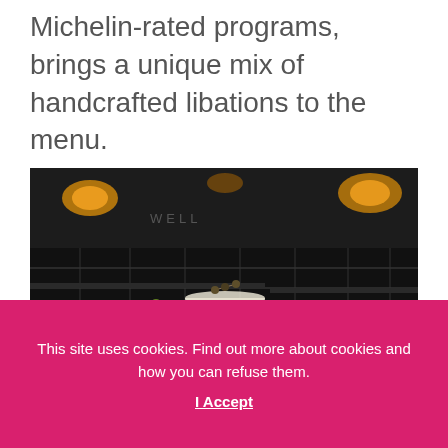Michelin-rated programs, brings a unique mix of handcrafted libations to the menu.
[Figure (photo): A dimly lit bar scene showing seven cocktail glasses and drinks arranged on a wooden bar counter against a dark black-tiled wall with warm ceiling lights.]
This site uses cookies. Find out more about cookies and how you can refuse them.
I Accept